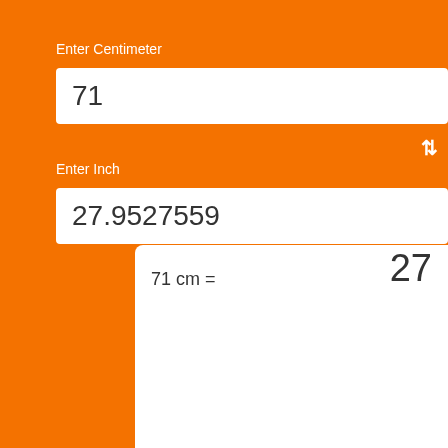Enter Centimeter
71
⇅
Enter Inch
27.9527559
71 cm =
27